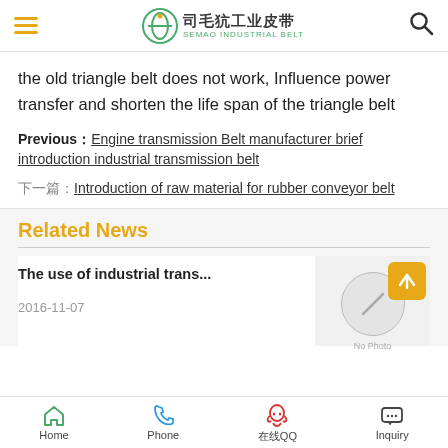司毛犺工业皮带 SEMAO INDUSTRIAL BELT
the old triangle belt does not work, Influence power transfer and shorten the life span of the triangle belt
Previous：Engine transmission Belt manufacturer brief introduction industrial transmission belt
下一篇：Introduction of raw material for rubber conveyor belt
Related News
The use of industrial trans...
2016-11-07
Home | Phone | QQ | Inquiry